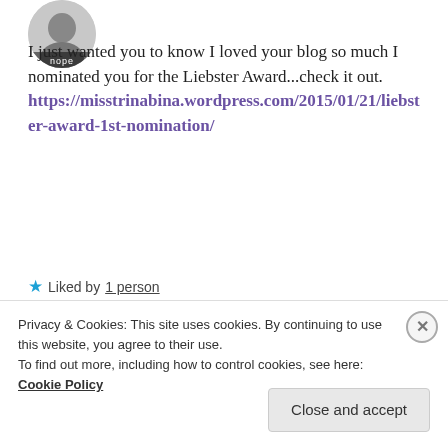[Figure (photo): Circular avatar with 'nope' label at bottom, partially cropped at top of page]
I just wanted you to know I loved your blog so much I nominated you for the Liebster Award...check it out. https://misstrinabina.wordpress.com/2015/01/21/liebster-award-1st-nomination/
★ Liked by 1 person
REPLY
[Figure (photo): Circular avatar showing a woman's face, circular crop]
YOUR_FACE
January 21, 2015 at 5:47
Privacy & Cookies: This site uses cookies. By continuing to use this website, you agree to their use.
To find out more, including how to control cookies, see here: Cookie Policy